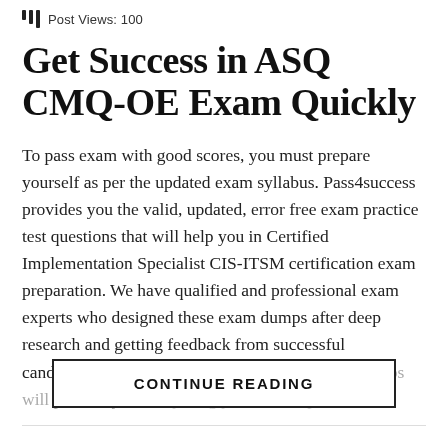Post Views: 100
Get Success in ASQ CMQ-OE Exam Quickly
To pass exam with good scores, you must prepare yourself as per the updated exam syllabus. Pass4success provides you the valid, updated, error free exam practice test questions that will help you in Certified Implementation Specialist CIS-ITSM certification exam preparation. We have qualified and professional exam experts who designed these exam dumps after deep research and getting feedback from successful candidates. These top notch and effective exam dumps will provide you ev… …has…p…